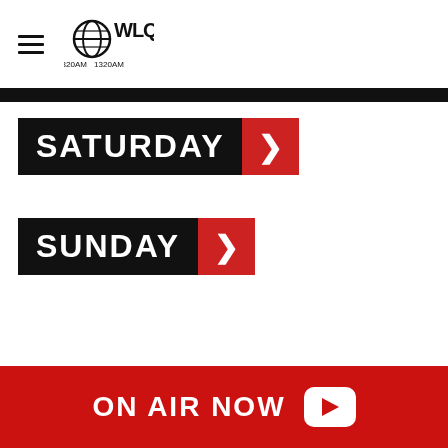[Figure (logo): WLQY 1320AM radio station logo with globe icon and text]
SATURDAY
SUNDAY
ON AIR NOW